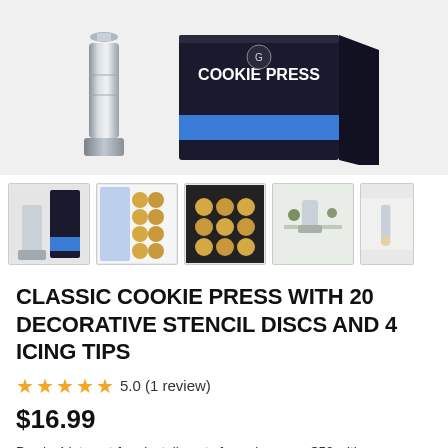[Figure (photo): Main product image showing a stainless steel cookie press and its black product box labeled COOKIE PRESS]
[Figure (photo): Row of 5 product thumbnail images showing the cookie press kit, stencil discs, cookies on baking tray, press in kitchen, and icing tips]
CLASSIC COOKIE PRESS WITH 20 DECORATIVE STENCIL DISCS AND 4 ICING TIPS
5.0 (1 review)
$16.99
Pay in 4 interest-free installments for orders over $50 with